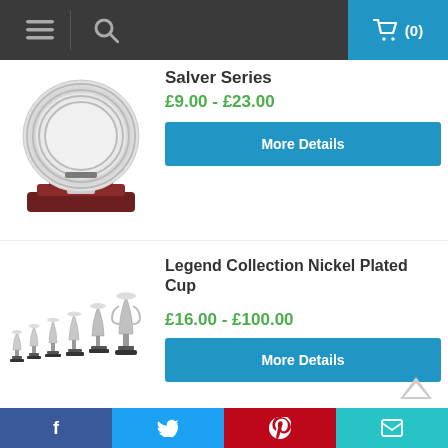Navigation header with hamburger menu, search icon, and cart (0)
[Figure (photo): Silver salver/plate trophy on a dark wooden base]
Salver Series
£9.00 - £23.00
More Details
[Figure (photo): Row of nickel plated cup trophies in varying sizes on black bases]
Legend Collection Nickel Plated Cup
£16.00 - £100.00
More Details
Social share bar: Facebook, Twitter, Pinterest, Email